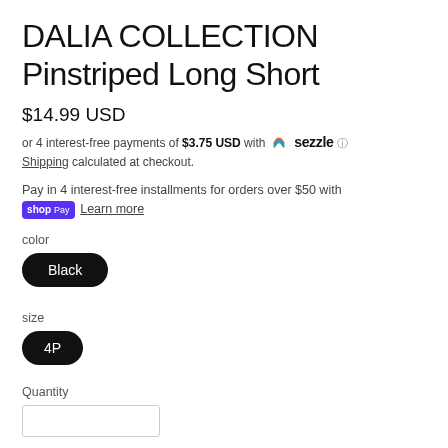DALIA COLLECTION Pinstriped Long Short
$14.99 USD
or 4 interest-free payments of $3.75 USD with Sezzle ℹ
Shipping calculated at checkout.
Pay in 4 interest-free installments for orders over $50 with Shop Pay  Learn more
color
Black
size
4P
Quantity